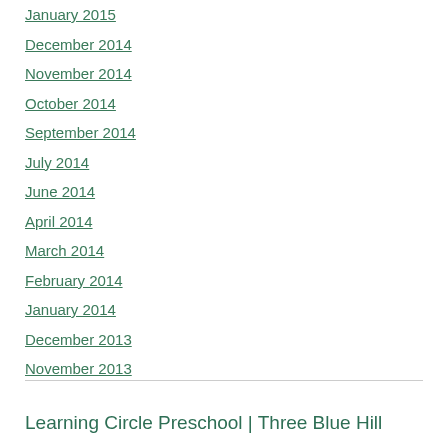January 2015
December 2014
November 2014
October 2014
September 2014
July 2014
June 2014
April 2014
March 2014
February 2014
January 2014
December 2013
November 2013
Learning Circle Preschool | Three Blue Hill